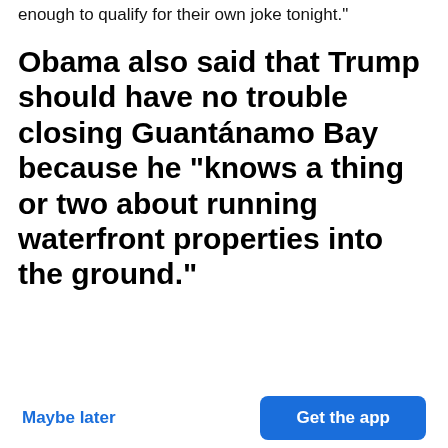enough to qualify for their own joke tonight."
Obama also said that Trump should have no trouble closing Guantánamo Bay because he "knows a thing or two about running waterfront properties into the ground."
[Figure (screenshot): CNN Twitter account card showing @CNN with verified badge and Follow button, with Twitter bird icon in top right]
[Figure (screenshot): BuzzFeed app promotion popup: 'Get the latest news in the app! Stay up to date on the most breaking news, all from your BuzzFeed app.' with Maybe later and Get the app buttons]